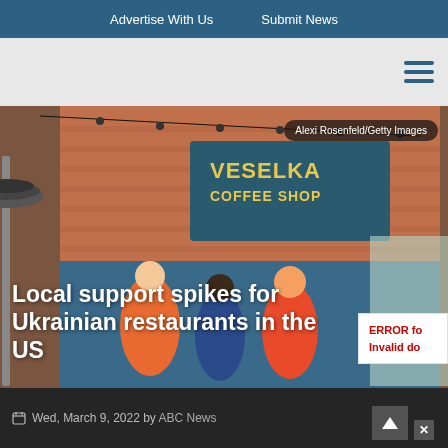Advertise With Us   Submit News
[Figure (photo): Exterior photo of Veselka Coffee Shop with a colorful street mural depicting people, under string lights, with a patio heater in the foreground.]
Alexi Rosenfeld/Getty Images
Local support spikes for Ukrainian restaurants in the US
ERROR for Invalid do
Wed, March 9, 2022 by ABC News